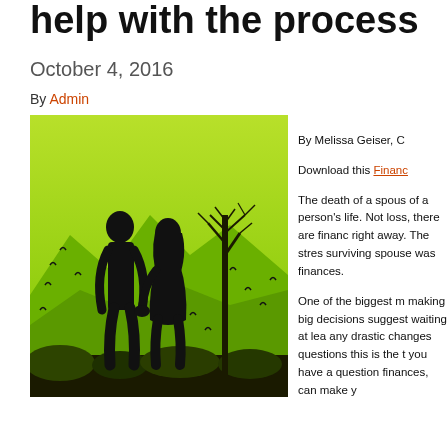help with the process
October 4, 2016
By Admin
[Figure (illustration): Silhouette of a couple holding hands walking in a green landscape with a bare tree and flying birds]
By Melissa Geiser, C
Download this Financ
The death of a spous of a person's life. Not loss, there are financ right away. The stres surviving spouse was finances.
One of the biggest m making big decisions suggest waiting at lea any drastic changes questions this is the t you have a question finances, can make y